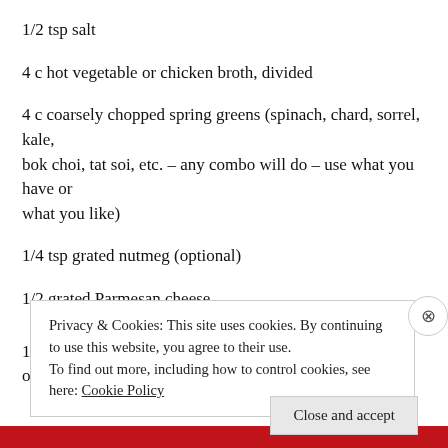1/2 tsp salt
4 c hot vegetable or chicken broth, divided
4 c coarsely chopped spring greens (spinach, chard, sorrel, kale, bok choi, tat soi, etc. – any combo will do – use what you have or what you like)
1/4 tsp grated nutmeg (optional)
1/2 grated Parmesan cheese
1. Heat oil in heavy pot over medium-high heat. Add onions; cook 3
Privacy & Cookies: This site uses cookies. By continuing to use this website, you agree to their use.
To find out more, including how to control cookies, see here: Cookie Policy
Close and accept